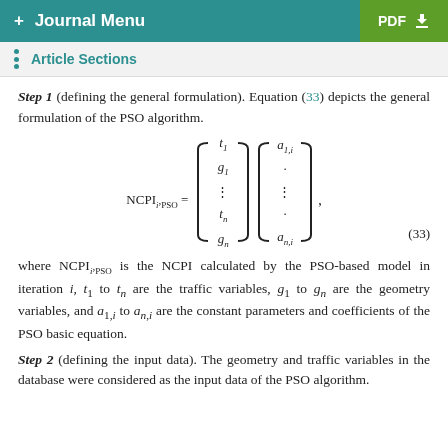+ Journal Menu   PDF ↓
Article Sections
Step 1 (defining the general formulation). Equation (33) depicts the general formulation of the PSO algorithm.
where NCPI_{i,PSO} is the NCPI calculated by the PSO-based model in iteration i, t_1 to t_n are the traffic variables, g_1 to g_n are the geometry variables, and a_{1,i} to a_{n,i} are the constant parameters and coefficients of the PSO basic equation.
Step 2 (defining the input data). The geometry and traffic variables in the database were considered as the input data of the PSO algorithm.